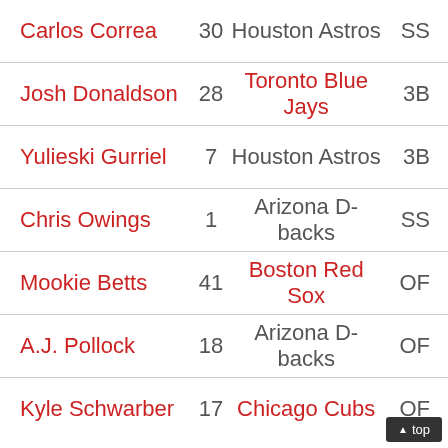| Name | # | Team | Pos |
| --- | --- | --- | --- |
| Carlos Correa | 30 | Houston Astros | SS |
| Josh Donaldson | 28 | Toronto Blue Jays | 3B |
| Yulieski Gurriel | 7 | Houston Astros | 3B |
| Chris Owings | 1 | Arizona D-backs | SS |
| Mookie Betts | 41 | Boston Red Sox | OF |
| A.J. Pollock | 18 | Arizona D-backs | OF |
| Kyle Schwarber | 17 | Chicago Cubs | OF |